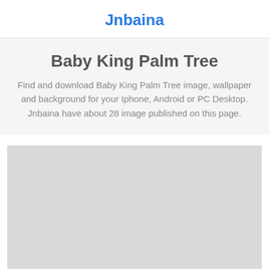Jnbaina
Baby King Palm Tree
Find and download Baby King Palm Tree image, wallpaper and background for your Iphone, Android or PC Desktop. Jnbaina have about 28 image published on this page.
[Figure (photo): Large light gray placeholder rectangle representing an image area for Baby King Palm Tree photos]